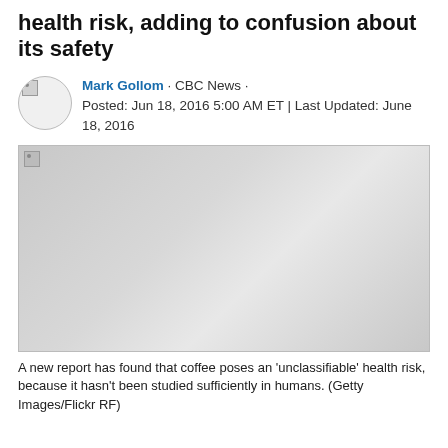health risk, adding to confusion about its safety
Mark Gollom · CBC News · Posted: Jun 18, 2016 5:00 AM ET | Last Updated: June 18, 2016
[Figure (photo): Large placeholder image with broken image icon in top-left corner, showing a gray gradient background.]
A new report has found that coffee poses an 'unclassifiable' health risk, because it hasn't been studied sufficiently in humans. (Getty Images/Flickr RF)